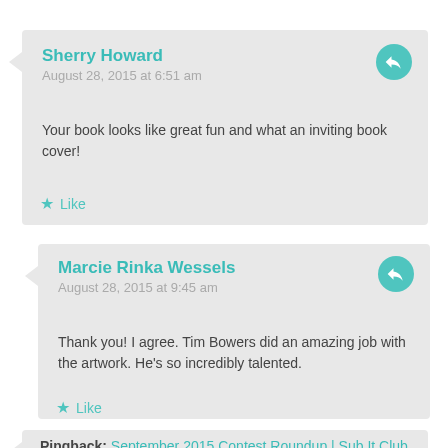Sherry Howard
August 28, 2015 at 6:51 am
Your book looks like great fun and what an inviting book cover!
Like
Marcie Rinka Wessels
August 28, 2015 at 9:45 am
Thank you! I agree. Tim Bowers did an amazing job with the artwork. He's so incredibly talented.
Like
Pingback: September 2015 Contest Roundup | Sub It Club